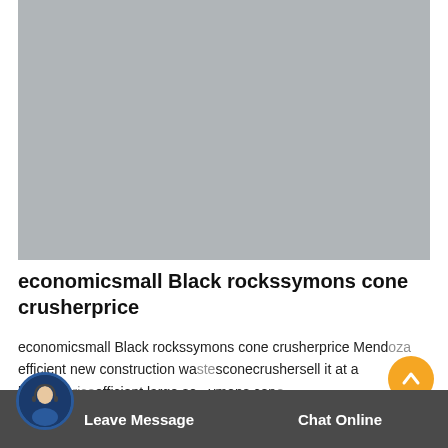[Figure (photo): Gray placeholder image area, likely a product or machinery photo]
economicsmall Black rockssymons cone crusherprice
economicsmall Black rockssymons cone crusherprice Mendoza efficient new construction wastesconecrushersell it at a bargainpriceefficient large so...ymons cone crusherpriceinSouth asiatangible benefitsmediumgold mine wor...